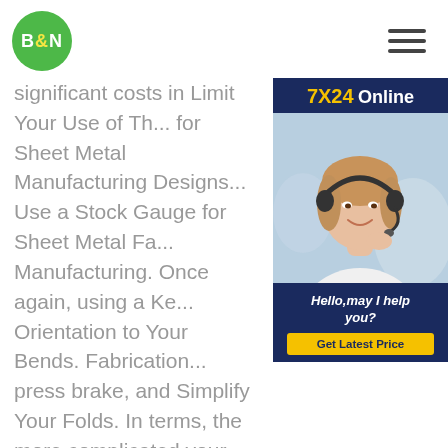B&N logo and hamburger menu
significant costs in Limit Your Use of Th... for Sheet Metal Manufacturing Designs... Use a Stock Gauge for Sheet Metal Fa... Manufacturing. Once again, using a Ke... Orientation to Your Bends. Fabrication... press brake, and Simplify Your Folds. In terms, the more complicated your desi... will Other Quick and Dirty Rules to She... Fabrication. Below you will find the most 3 Ways to reduce costs on sheet metal fabrication LW 2020 sheet metal fabrication cost sheet metal costHome / Tips / 3 Ways to reduce costs on sheet metal fabrication . View Larger Image. 3 Ways to reduce
[Figure (other): 7X24 Online chat widget with a customer service representative photo, greeting 'Hello, may I help you?' and a 'Get Latest Price' button]